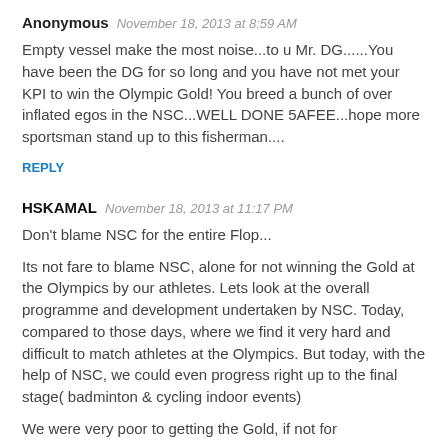Anonymous   November 18, 2013 at 8:59 AM
Empty vessel make the most noise...to u Mr. DG......You have been the DG for so long and you have not met your KPI to win the Olympic Gold! You breed a bunch of over inflated egos in the NSC...WELL DONE 5AFEE...hope more sportsman stand up to this fisherman....
REPLY
HSKAMAL   November 18, 2013 at 11:17 PM
Don't blame NSC for the entire Flop...
Its not fare to blame NSC, alone for not winning the Gold at the Olympics by our athletes. Lets look at the overall programme and development undertaken by NSC. Today, compared to those days, where we find it very hard and difficult to match athletes at the Olympics. But today, with the help of NSC, we could even progress right up to the final stage( badminton & cycling indoor events)
We were very poor to getting the Gold, if not for